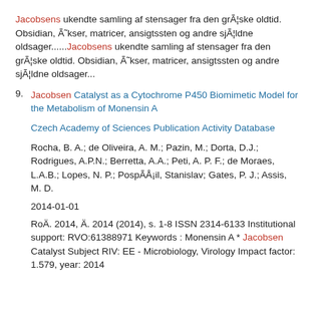Jacobsens ukendte samling af stensager fra den grÃ¦ske oldtid. Obsidian, Ã˜kser, matricer, ansigtssten og andre sjÃ¦ldne oldsager......Jacobsens ukendte samling af stensager fra den grÃ¦ske oldtid. Obsidian, Ã˜kser, matricer, ansigtssten og andre sjÃ¦ldne oldsager...
9. Jacobsen Catalyst as a Cytochrome P450 Biomimetic Model for the Metabolism of Monensin A
Czech Academy of Sciences Publication Activity Database
Rocha, B. A.; de Oliveira, A. M.; Pazin, M.; Dorta, D.J.; Rodrigues, A.P.N.; Berretta, A.A.; Peti, A. P. F.; de Moraes, L.A.B.; Lopes, N. P.; PospÃÅ¡il, Stanislav; Gates, P. J.; Assis, M. D.
2014-01-01
RoÄ. 2014, Ä. 2014 (2014), s. 1-8 ISSN 2314-6133 Institutional support: RVO:61388971 Keywords : Monensin A * Jacobsen Catalyst Subject RIV: EE - Microbiology, Virology Impact factor: 1.579, year: 2014